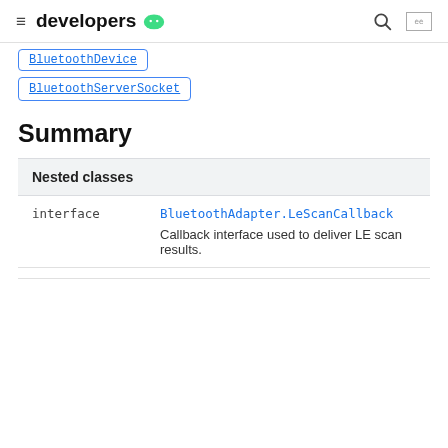≡ developers 🤖
BluetoothDevice
BluetoothServerSocket
Summary
| Nested classes |
| --- |
| interface | BluetoothAdapter.LeScanCallback | Callback interface used to deliver LE scan results. |